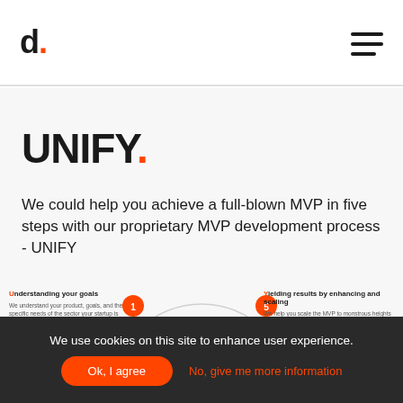d. [logo] [hamburger menu]
UNIFY.
We could help you achieve a full-blown MVP in five steps with our proprietary MVP development process - UNIFY
[Figure (infographic): Circular UNIFY process diagram with numbered steps. Step 1 (orange circle, left): 'Understanding your goals' - We understand your product, goals, and the specific needs of the sector your startup is working in. We help lay the foundation of a value-based concept that adds to your... Step 5 (orange circle, right): 'Yielding results by enhancing and scaling' - We help you scale the MVP to monstrous heights with our post-launch support. Central large orange semicircle visible at bottom.]
We use cookies on this site to enhance user experience.
Ok, I agree
No, give me more information